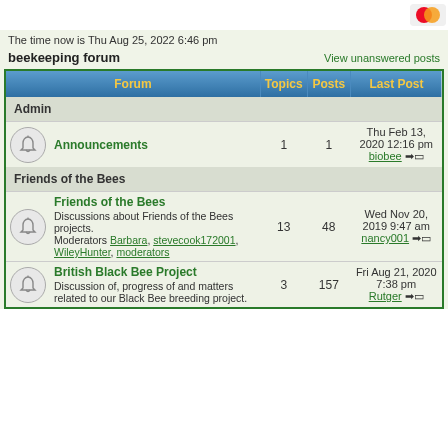The time now is Thu Aug 25, 2022 6:46 pm
beekeeping forum
View unanswered posts
| Forum | Topics | Posts | Last Post |
| --- | --- | --- | --- |
| Admin |  |  |  |
| [icon] Announcements | 1 | 1 | Thu Feb 13, 2020 12:16 pm biobee → |
| Friends of the Bees |  |  |  |
| [icon] Friends of the Bees — Discussions about Friends of the Bees projects. Moderators Barbara, stevecook172001, WileyHunter, moderators | 13 | 48 | Wed Nov 20, 2019 9:47 am nancy001 → |
| [icon] British Black Bee Project — Discussion of, progress of and matters related to our Black Bee breeding project. | 3 | 157 | Fri Aug 21, 2020 7:38 pm Rutger → |